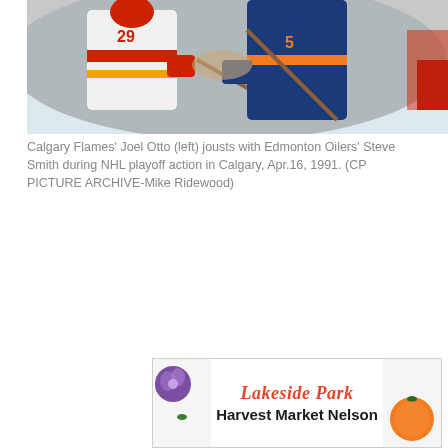[Figure (photo): Two hockey players in a physical battle on ice — a Calgary Flames player (white and red jersey, number 29) jousting with an Edmonton Oilers player (blue and orange jersey, number 5). The players are close together with sticks and gloves visible.]
Calgary Flames' Joel Otto (left) jousts with Edmonton Oilers' Steve Smith during NHL playoff action in Calgary, Apr.16, 1991. (CP PICTURE ARCHIVE-Mike Ridewood)
[Figure (photo): Advertisement banner for Lakeside Park Harvest Market Nelson with decorative food/produce images on left and right sides. Text reads 'Lakeside Park' in red italic and 'Harvest Market Nelson' in bold black.]